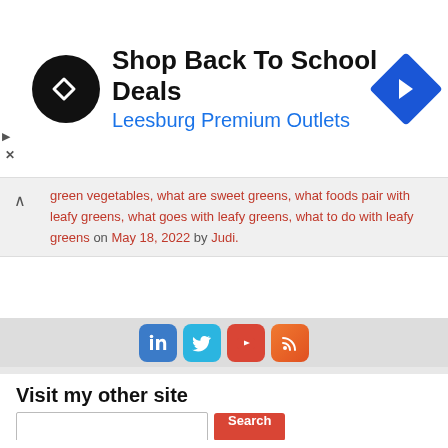[Figure (infographic): Advertisement banner: Shop Back To School Deals at Leesburg Premium Outlets. Black circular logo with double arrow, blue diamond arrow icon on right.]
green vegetables, what are sweet greens, what foods pair with leafy greens, what goes with leafy greens, what to do with leafy greens on May 18, 2022 by Judi.
[Figure (infographic): Social media icons: LinkedIn, Twitter, YouTube, RSS feed]
[Figure (infographic): Pagination circles: three hollow circles]
Visit my other site
Judi in the Kitchen (YouTube)
Search
Recent Posts
Portobello Mushrooms 101 – The Basics